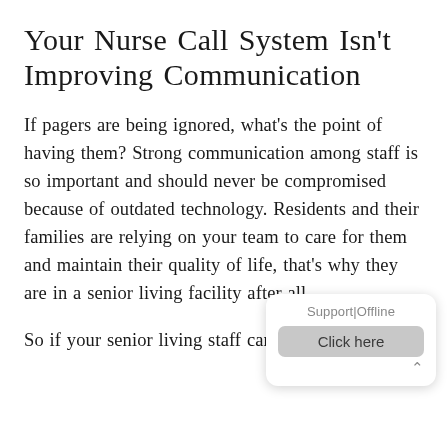Your Nurse Call System Isn't Improving Communication
If pagers are being ignored, what's the point of having them? Strong communication among staff is so important and should never be compromised because of outdated technology. Residents and their families are relying on your team to care for them and maintain their quality of life, that's why they are in a senior living facility after all.
So if your senior living staff can't